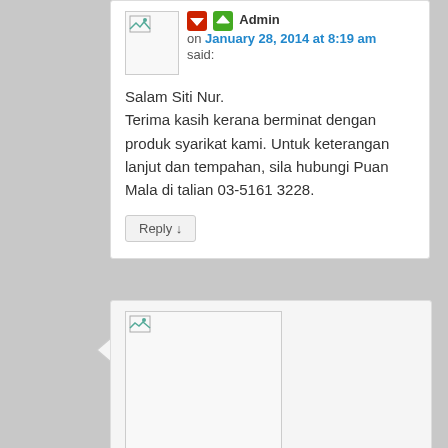Admin on January 28, 2014 at 8:19 am said:
Salam Siti Nur.
Terima kasih kerana berminat dengan produk syarikat kami. Untuk keterangan lanjut dan tempahan, sila hubungi Puan Mala di talian 03-5161 3228.
Reply ↓
[Figure (screenshot): Avatar placeholder image with broken image icon]
saiful khairi on January 26, 2014 at 7:08 pm said:
salam